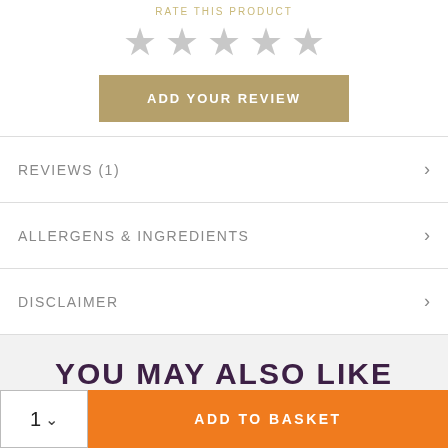RATE THIS PRODUCT
[Figure (other): Five empty star rating icons in grey]
ADD YOUR REVIEW
REVIEWS (1)
ALLERGENS & INGREDIENTS
DISCLAIMER
YOU MAY ALSO LIKE
1  ADD TO BASKET